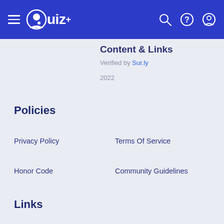Quiz+ navigation bar
Content & Links
Verified by Sur.ly
2022
Policies
Privacy Policy
Terms Of Service
Honor Code
Community Guidelines
Links
FAQ
Referral Program